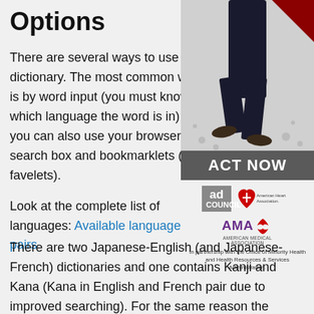Options
There are several ways to use this dictionary. The most common way is by word input (you must know which language the word is in) but you can also use your browser's search box and bookmarklets (or favelets).
Look at the complete list of languages: Available language pairs
[Figure (photo): Advertisement showing a person walking, with 'ACT NOW' banner, Ad Council logo, American Heart Association logo, AMA (American Medical Association) logo, and text 'In partnership with the Office of Minority Health and Health Resources & Services Administration.']
There are two Japanese-English (and Japanese-French) dictionaries and one contains Kanji and Kana (Kana in English and French pair due to improved searching). For the same reason the Chinese dictionary contains